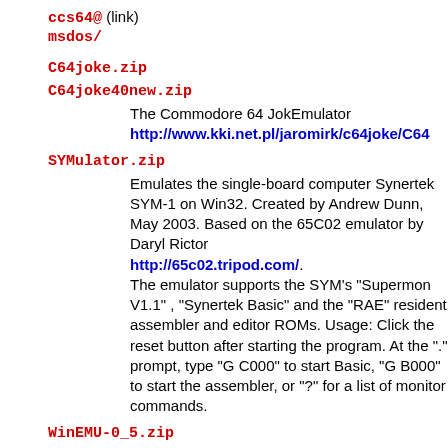ccs64@ (link)
msdos/
C64joke.zip
C64joke40new.zip
The Commodore 64 JokEmulator http://www.kki.net.pl/jaromirk/c64joke/C64
SYMulator.zip
Emulates the single-board computer Synertek SYM-1 on Win32. Created by Andrew Dunn, May 2003. Based on the 65C02 emulator by Daryl Rictor http://65c02.tripod.com/. The emulator supports the SYM's "Supermon V1.1" , "Synertek Basic" and the "RAE" resident assembler and editor ROMs. Usage: Click the reset button after starting the program. At the "." prompt, type "G C000" to start Basic, "G B000" to start the assembler, or "?" for a list of monitor commands.
WinEMU-0_5.zip
WinEMU version 0.5. The C16/Plus4 Emulator by Zsolt Prievara in 2001